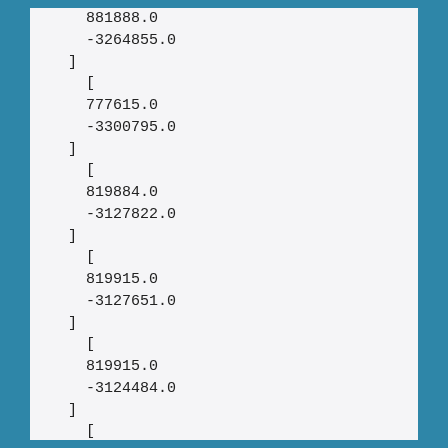881888.0
  -3264855.0
]
  [
  777615.0
  -3300795.0
]
  [
  819884.0
  -3127822.0
]
  [
  819915.0
  -3127651.0
]
  [
  819915.0
  -3124484.0
]
  [